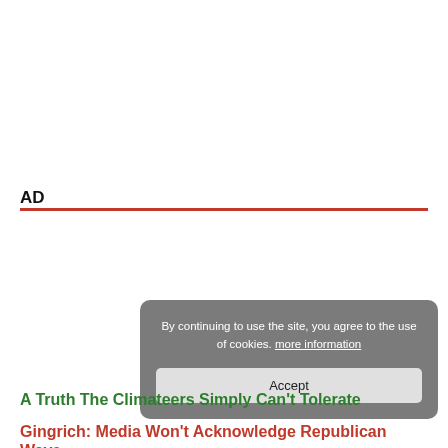AD
[Figure (other): Cookie consent overlay with accept button: 'By continuing to use the site, you agree to the use of cookies. more information' and an Accept button]
A Truth The Climateers Simply Can't Tolerate
Gingrich: Media Won't Acknowledge Republican Wave